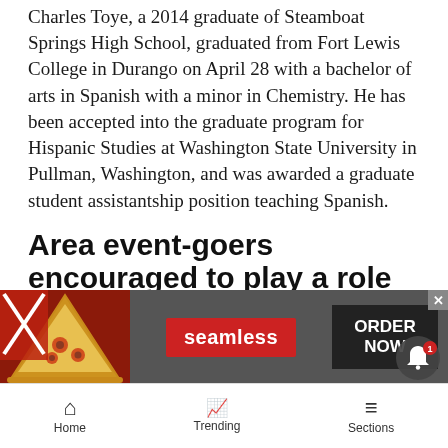Charles Toye, a 2014 graduate of Steamboat Springs High School, graduated from Fort Lewis College in Durango on April 28 with a bachelor of arts in Spanish with a minor in Chemistry. He has been accepted into the graduate program for Hispanic Studies at Washington State University in Pullman, Washington, and was awarded a graduate student assistantship position teaching Spanish.
Area event-goers encouraged to play a role in sustainability
Yampa Valley Sustainability Council suggests five tips to make Steamboat events more sustainable:
BYOB (bottle, that is): Avoid single-use plastic b... and r... e